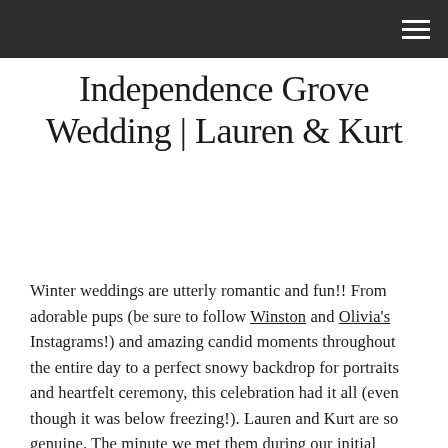Independence Grove Wedding | Lauren & Kurt
Winter weddings are utterly romantic and fun!! From adorable pups (be sure to follow Winston and Olivia's Instagrams!) and amazing candid moments throughout the entire day to a perfect snowy backdrop for portraits and heartfelt ceremony, this celebration had it all (even though it was below freezing!). Lauren and Kurt are so genuine. The minute we met them during our initial consult, we knew they were something